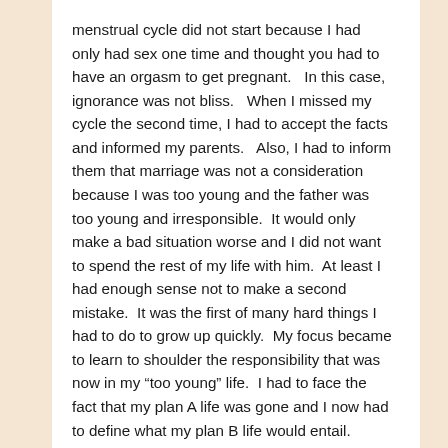menstrual cycle did not start because I had only had sex one time and thought you had to have an orgasm to get pregnant.   In this case, ignorance was not bliss.   When I missed my cycle the second time, I had to accept the facts and informed my parents.   Also, I had to inform them that marriage was not a consideration because I was too young and the father was too young and irresponsible.  It would only make a bad situation worse and I did not want to spend the rest of my life with him.  At least I had enough sense not to make a second mistake.  It was the first of many hard things I had to do to grow up quickly.  My focus became to learn to shoulder the responsibility that was now in my “too young” life.  I had to face the fact that my plan A life was gone and I now had to define what my plan B life would entail.
I was blessed.   I had a strong immediate family and extended family foundation that included...